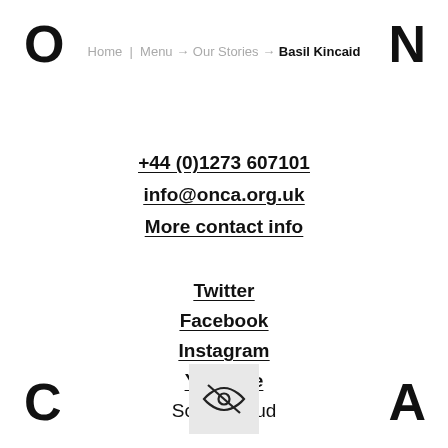O  Home | Menu → Our Stories → Basil Kincaid  N
+44 (0)1273 607101
info@onca.org.uk
More contact info
Twitter
Facebook
Instagram
YouTube
SoundCloud
[Figure (illustration): A crossed-out eye icon inside a light grey square box]
C  A